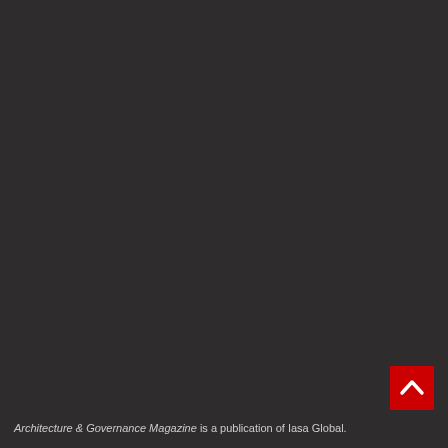[Figure (other): Red square button with a white upward-pointing chevron/arrow icon, positioned at the bottom-right of a dark background page.]
Architecture & Governance Magazine is a publication of Iasa Global.